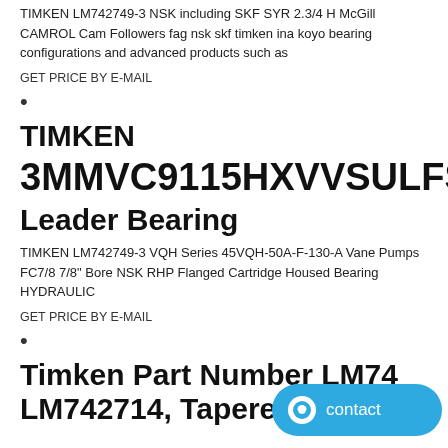TIMKEN LM742749-3 NSK including SKF SYR 2.3/4 H McGill CAMROL Cam Followers fag nsk skf timken ina koyo bearing configurations and advanced products such as
GET PRICE BY E-MAIL
•
TIMKEN 3MMVC9115HXVVSULFS934 Leader Bearing
TIMKEN LM742749-3 VQH Series 45VQH-50A-F-130-A Vane Pumps FC7/8 7/8" Bore NSK RHP Flanged Cartridge Housed Bearing HYDRAULIC
GET PRICE BY E-MAIL
•
Timken Part Number LM74... LM742714, Tapered Roller